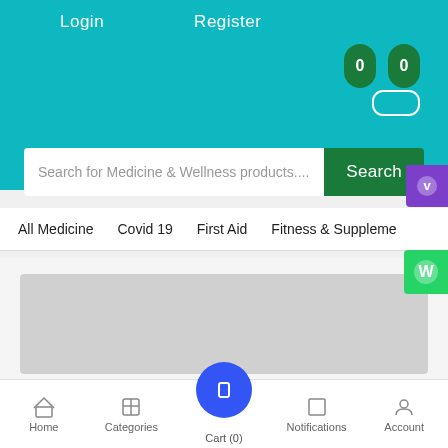Login
Register
[Figure (screenshot): Two dark green oval badge icons each showing '0' in white text, representing counters]
[Figure (screenshot): White toggle switch element on teal background]
Search for Medicine & Wellness products....
Search
[Figure (infographic): Purple Viber button icon]
All Medicine
Covid 19
First Aid
Fitness & Suppleme
[Figure (infographic): Green WhatsApp button icon on right side]
[Figure (photo): Gray placeholder image area for promotional banner]
Home
Categories
Cart (0)
Notifications
Account